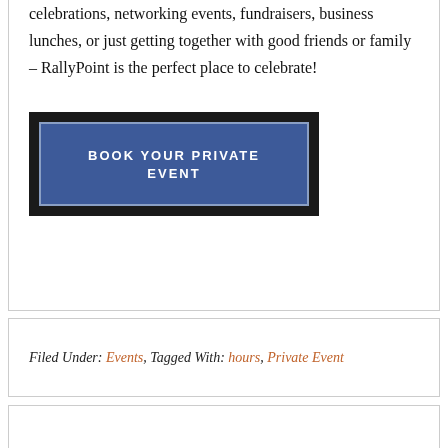celebrations, networking events, fundraisers, business lunches, or just getting together with good friends or family – RallyPoint is the perfect place to celebrate!
[Figure (other): Dark-bordered button with blue background reading BOOK YOUR PRIVATE EVENT in white uppercase letters]
Filed Under: Events, Tagged With: hours, Private Event
October 7, 2019 By RallyPoint Sport Grill